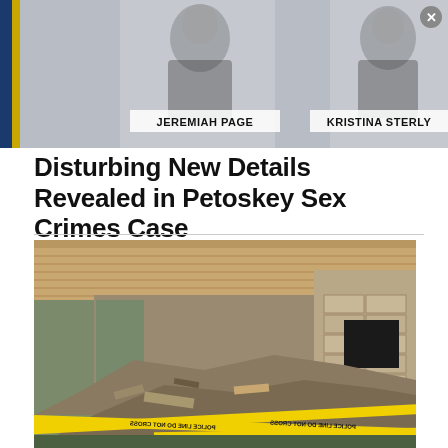[Figure (photo): News broadcast screenshot showing mugshot photos of two suspects labeled JEREMIAH PAGE and KRISTINA STERLY, both wearing dark clothing against a gray background with a blue TV station graphic on the left side.]
Disturbing New Details Revealed in Petoskey Sex Crimes Case
[Figure (photo): A demolished building or structure with rubble, debris, broken walls and yellow police tape reading POLICE LINE DO NOT CROSS in the foreground. The building appears to have a significant portion of its exterior wall collapsed.]